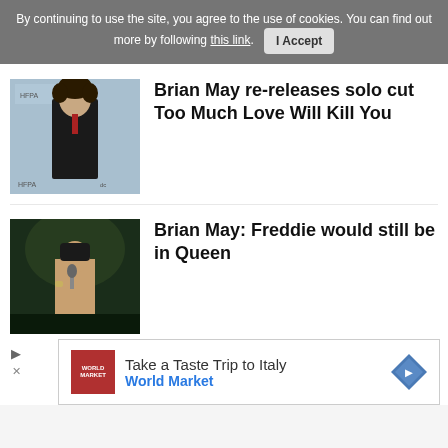By continuing to use the site, you agree to the use of cookies. You can find out more by following this link. I Accept
Brian May re-releases solo cut Too Much Love Will Kill You
[Figure (photo): Photo of Brian May in a suit at an awards event with HFPA/NBC signage]
Brian May: Freddie would still be in Queen
[Figure (photo): Photo of Freddie Mercury performing on stage shirtless, singing into a microphone]
[Figure (infographic): Advertisement banner: Take a Taste Trip to Italy - World Market, with red logo and navigation arrow icon]
e